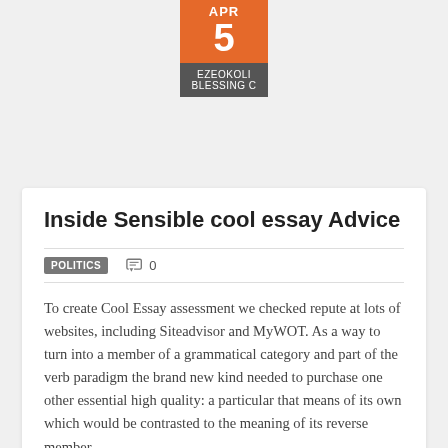[Figure (other): Date badge with orange top showing APR / 5 and dark grey bottom showing EZEOKOLI BLESSING C]
Inside Sensible cool essay Advice
POLITICS   0
To create Cool Essay assessment we checked repute at lots of websites, including Siteadvisor and MyWOT. As a way to turn into a member of a grammatical category and part of the verb paradigm the brand new kind needed to purchase one other essential high quality: a particular that means of its own which would be contrasted to the meaning of its reverse member